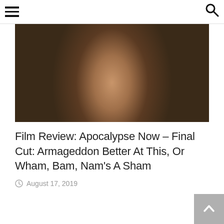Navigation menu and search
[Figure (photo): Close-up photo of a shirtless person wearing a necklace and dark strap, warm tones, dark background]
Film Review: Apocalypse Now – Final Cut: Armageddon Better At This, Or Wham, Bam, Nam's A Sham
August 17, 2019